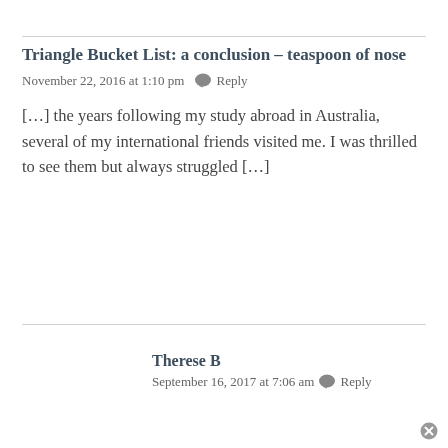Triangle Bucket List: a conclusion – teaspoon of nose
November 22, 2016 at 1:10 pm  Reply
[…] the years following my study abroad in Australia, several of my international friends visited me. I was thrilled to see them but always struggled […]
Therese B
September 16, 2017 at 7:06 am  Reply